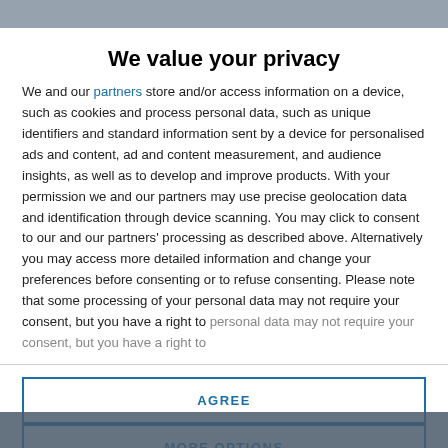[Website header - blurred background]
We value your privacy
We and our partners store and/or access information on a device, such as cookies and process personal data, such as unique identifiers and standard information sent by a device for personalised ads and content, ad and content measurement, and audience insights, as well as to develop and improve products. With your permission we and our partners may use precise geolocation data and identification through device scanning. You may click to consent to our and our partners' processing as described above. Alternatively you may access more detailed information and change your preferences before consenting or to refuse consenting. Please note that some processing of your personal data may not require your consent, but you have a right to
AGREE
MORE OPTIONS
[Website content - image strip]